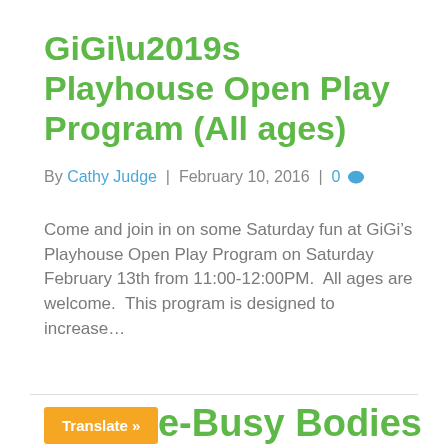GiGi’s Playhouse Open Play Program (All ages)
By Cathy Judge | February 10, 2016 | 0
Come and join in on some Saturday fun at GiGi’s Playhouse Open Play Program on Saturday February 13th from 11:00-12:00PM. All ages are welcome. This program is designed to increase…
Read More
uhouse-Busy Bodies